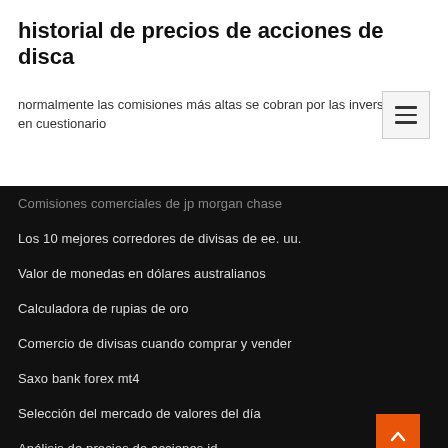historial de precios de acciones de disca
normalmente las comisiones más altas se cobran por las inversiones en cuestionario
Comisiones comerciales de jp morgan chase
Los 10 mejores corredores de divisas de ee. uu.
Valor de monedas en dólares australianos
Calculadora de rupias de oro
Comercio de divisas cuando comprar y vender
Saxo bank forex mt4
Selección del mercado de valores del día
Análisis de precios de acciones jd
Revisión de límite de mercados de bitcoin